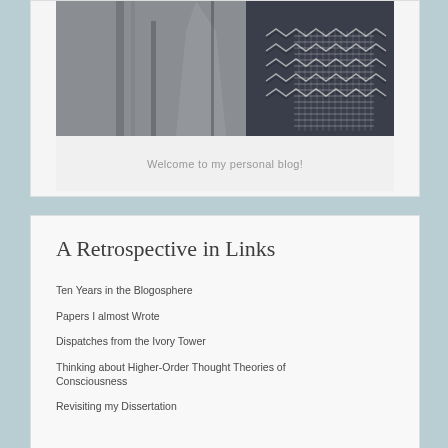[Figure (photo): Close-up photo of gray fabric/coat with a dark navy and white zigzag/knit patterned tie or scarf visible on the right side]
Welcome to my personal blog!
A Retrospective in Links
Ten Years in the Blogosphere
Papers I almost Wrote
Dispatches from the Ivory Tower
Thinking about Higher-Order Thought Theories of Consciousness
Revisiting my Dissertation